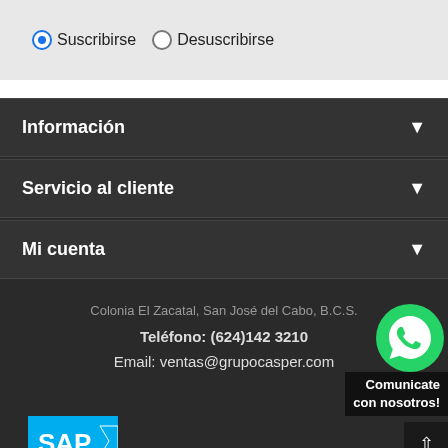Suscribirse   Desuscribirse
Información
Servicio al cliente
Mi cuenta
Colonia El Zacatal, San José del Cabo, B.C.S.
Teléfono: (624)142 3210
Email: ventas@grupocasper.com
[Figure (logo): WhatsApp green phone icon with text 'Comunicate con nosotros!']
[Figure (logo): SAP logo in blue and white]